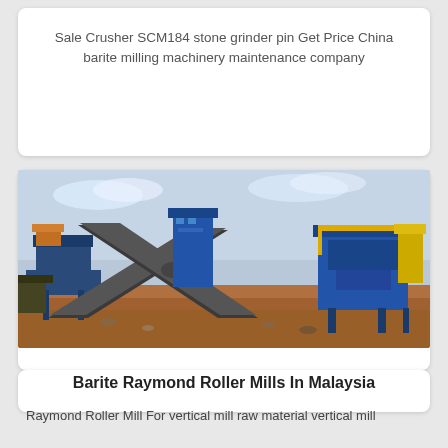Sale Crusher SCM184 stone grinder pin Get Price China barite milling machinery maintenance company
[Figure (photo): Outdoor industrial mining/crushing plant with blue and yellow heavy machinery, conveyor belts crossing in an X pattern, set on a red-earth open ground under a cloudy sky.]
Barite Raymond Roller Mills In Malaysia
Raymond Roller Mill For vertical mill raw material vertical mill